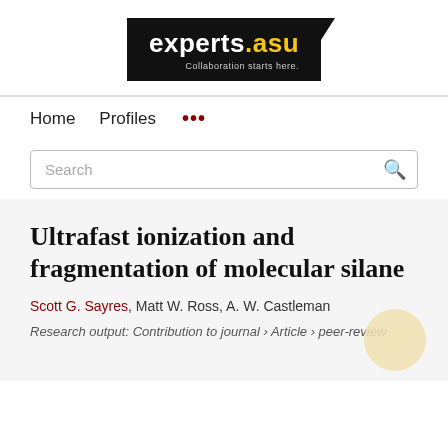[Figure (logo): experts.asu logo — black rectangle with white bold text 'experts' and yellow '.asu', tagline 'Collaboration starts here.' in grey]
Home   Profiles   ...
Search
Ultrafast ionization and fragmentation of molecular silane
Scott G. Sayres, Matt W. Ross, A. W. Castleman
Research output: Contribution to journal › Article › peer-review